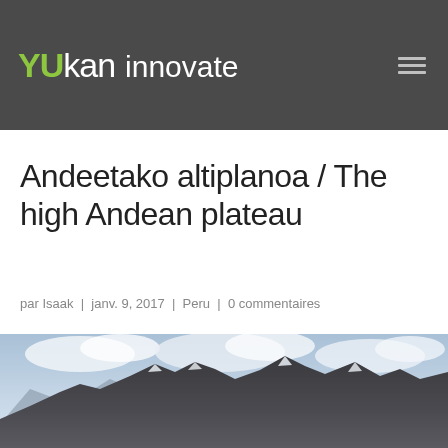YUkan innovate
Andeetako altiplanoa / The high Andean plateau
par Isaak | janv. 9, 2017 | Peru | 0 commentaires
[Figure (photo): Mountain landscape with snow-capped Andean peaks under a cloudy sky, high plateau scenery]